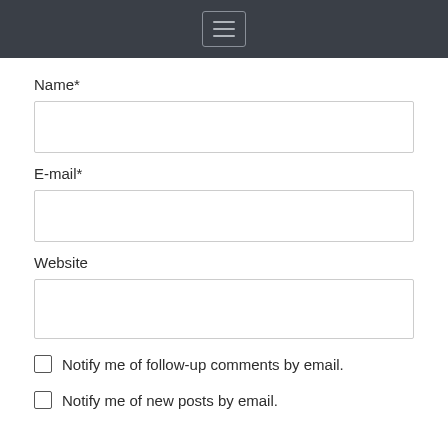Name*
E-mail*
Website
Notify me of follow-up comments by email.
Notify me of new posts by email.